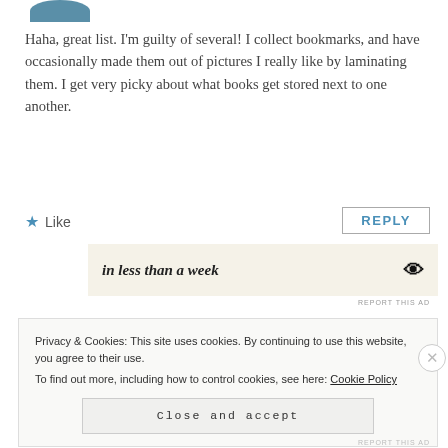[Figure (photo): Partial avatar image, circular crop at top]
Haha, great list. I'm guilty of several! I collect bookmarks, and have occasionally made them out of pictures I really like by laminating them. I get very picky about what books get stored next to one another.
★ Like
REPLY
in less than a week
REPORT THIS AD
Privacy & Cookies: This site uses cookies. By continuing to use this website, you agree to their use.
To find out more, including how to control cookies, see here: Cookie Policy
Close and accept